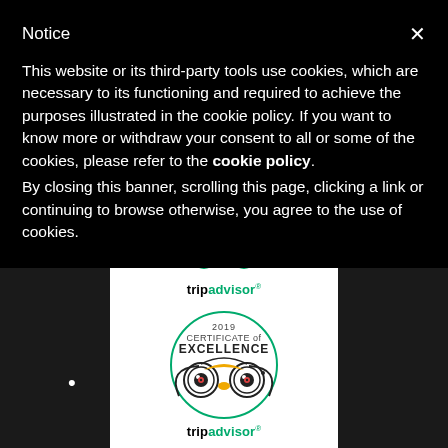Notice
This website or its third-party tools use cookies, which are necessary to its functioning and required to achieve the purposes illustrated in the cookie policy. If you want to know more or withdraw your consent to all or some of the cookies, please refer to the cookie policy.
By closing this banner, scrolling this page, clicking a link or continuing to browse otherwise, you agree to the use of cookies.
[Figure (logo): TripAdvisor logo with owl icon at top, partially cropped]
[Figure (logo): TripAdvisor 2019 Certificate of Excellence badge with full owl icon]